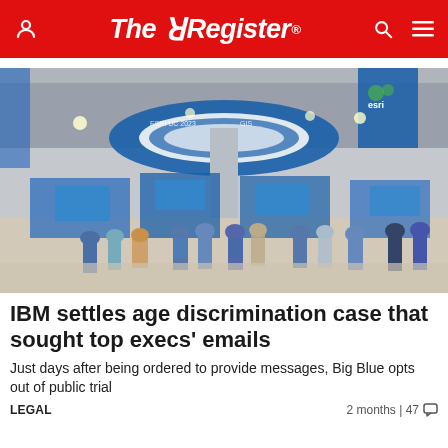The Register
[Figure (photo): Convention hall or trade show interior with large circular hanging display, people milling about exhibition booths, blue and green banners, esri signage visible in top right]
IBM settles age discrimination case that sought top execs' emails
Just days after being ordered to provide messages, Big Blue opts out of public trial
LEGAL   2 months | 47